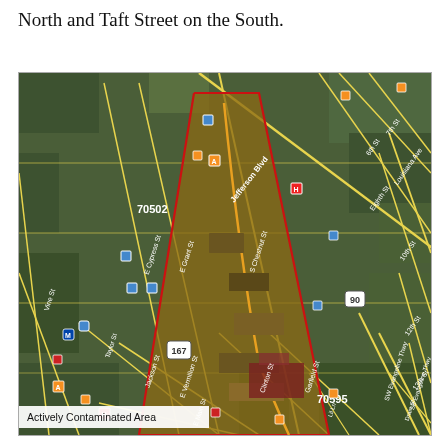North and Taft Street on the South.
[Figure (map): Aerial satellite map of a neighborhood showing an actively contaminated area outlined in red/orange, with street labels including Jefferson Blvd, S Chestnut St, E Grant St, E Cypress St, E Vermilion St, Clinton St, Garfield St, Lil Ln, Jackson St, E Main St, Taylor St, 6th St, 7th St, Eighth St, 10th St, 12th St, 13th St, Louisiana Ave, SW Evangeline Thwy, SE Evangeline Thwy, Drain St. ZIP codes 70502 and 70595 visible. Route markers 167 and 90. The contaminated area is shown as a brownish corridor running diagonally.]
Actively Contaminated Area